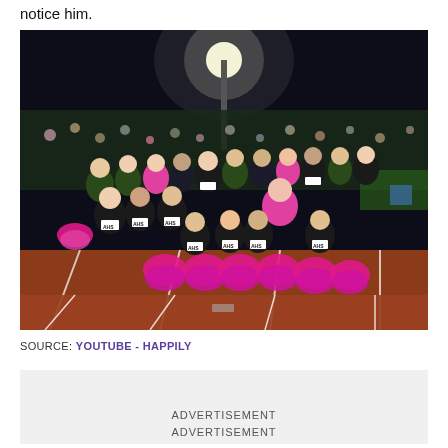notice him.
[Figure (photo): Group photo of cheerleaders in black and white AHS uniforms holding bright pink pom-poms, posed on a running track at night during a football game. One person in the middle row has pink hair. Stadium lights and bleachers with spectators visible in background.]
SOURCE: YOUTUBE - HAPPILY
ADVERTISEMENT
ADVERTISEMENT